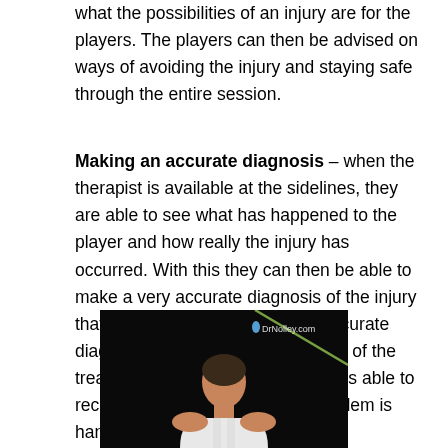what the possibilities of an injury are for the players. The players can then be advised on ways of avoiding the injury and staying safe through the entire session.
Making an accurate diagnosis – when the therapist is available at the sidelines, they are able to see what has happened to the player and how really the injury has occurred. With this they can then be able to make a very accurate diagnosis of the injury that the player has incurred. An accurate diagnosis takes the guess work out of the treatment and therefore the player is able to recover much better when the problem is handled accurately.
[Figure (photo): A person viewed from behind wearing a white tank top, with a diagonal line/band visible across the dark background. DrNolley.com watermark in the upper right corner.]